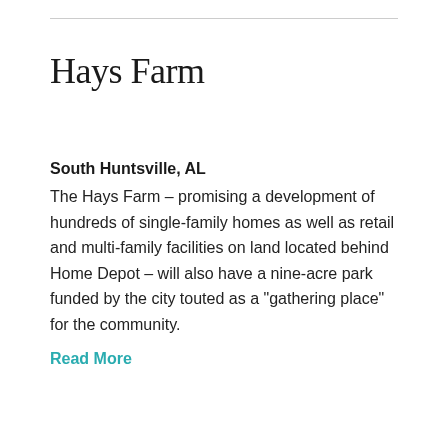Hays Farm
South Huntsville, AL
The Hays Farm – promising a development of hundreds of single-family homes as well as retail and multi-family facilities on land located behind Home Depot – will also have a nine-acre park funded by the city touted as a “gathering place” for the community.
Read More